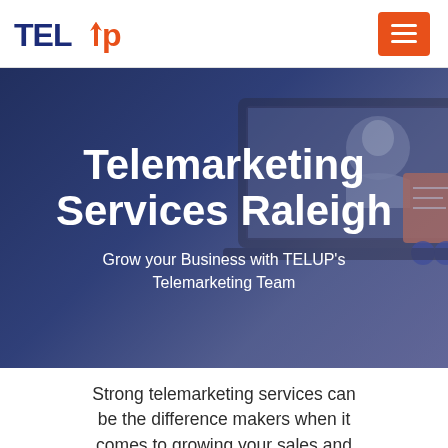TELUP
Telemarketing Services Raleigh
Grow your Business with TELUP's Telemarketing Team
Strong telemarketing services can be the difference makers when it comes to growing your sales and attracting new clients to your...